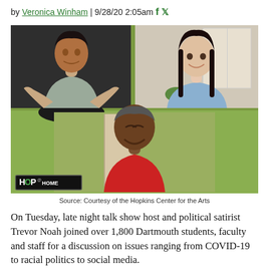by Veronica Winham | 9/28/20 2:05am
[Figure (photo): Video call screenshot showing three people: top-left a young man in a grey hoodie gesturing with hands, top-right a young woman with long dark hair smiling, bottom-center an older man in a red shirt smiling broadly. A 'HOP at HOME' logo is in the bottom-left corner. Background is a green-tinted video conference layout.]
Source: Courtesy of the Hopkins Center for the Arts
On Tuesday, late night talk show host and political satirist Trevor Noah joined over 1,800 Dartmouth students, faculty and staff for a discussion on issues ranging from COVID-19 to racial politics to social media.